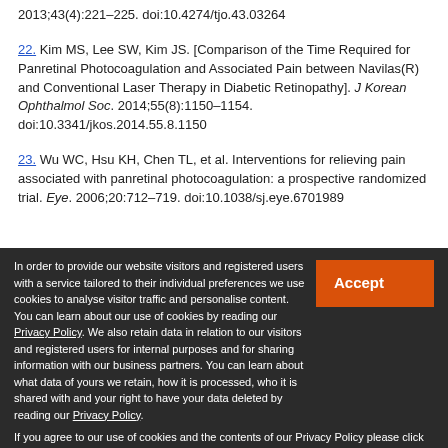2013;43(4):221–225. doi:10.4274/tjo.43.03264
22. Kim MS, Lee SW, Kim JS. [Comparison of the Time Required for Panretinal Photocoagulation and Associated Pain between Navilas(R) and Conventional Laser Therapy in Diabetic Retinopathy]. J Korean Ophthalmol Soc. 2014;55(8):1150–1154. doi:10.3341/jkos.2014.55.8.1150
23. Wu WC, Hsu KH, Chen TL, et al. Interventions for relieving pain associated with panretinal photocoagulation: a prospective randomized trial. Eye. 2006;20:712–719. doi:10.1038/sj.eye.6701989
In order to provide our website visitors and registered users with a service tailored to their individual preferences we use cookies to analyse visitor traffic and personalise content. You can learn about our use of cookies by reading our Privacy Policy. We also retain data in relation to our visitors and registered users for internal purposes and for sharing information with our business partners. You can learn about what data of yours we retain, how it is processed, who it is shared with and your right to have your data deleted by reading our Privacy Policy. If you agree to our use of cookies and the contents of our Privacy Policy please click 'accept'.